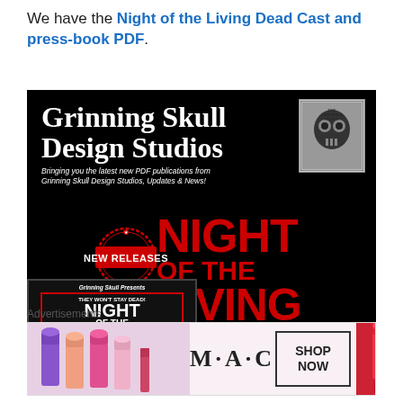We have the Night of the Living Dead Cast and press-book PDF.
[Figure (illustration): Grinning Skull Design Studios promotional banner for Night of the Living Dead press-book PDF. Black background with white gothic serif text 'Grinning Skull Design Studios' and a skull logo image in top right. Tagline: 'Bringing you the latest new PDF publications from Grinning Skull Design Studios, Updates & News!' New Releases stamp at left. Large red text reading NIGHT OF THE LIVING DEAD on right side. Small book cover image at bottom left showing 'Grinning Skull Presents THEY WON'T STAY DEAD! NIGHT OF THE LIVING...' A close/X button at bottom right corner.]
Advertisements
[Figure (photo): MAC Cosmetics advertisement banner showing colorful lipsticks on left, MAC logo in center, SHOP NOW button box, and red lipstick on right.]